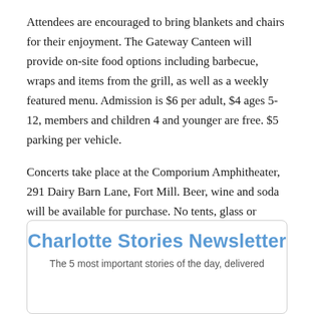Attendees are encouraged to bring blankets and chairs for their enjoyment. The Gateway Canteen will provide on-site food options including barbecue, wraps and items from the grill, as well as a weekly featured menu. Admission is $6 per adult, $4 ages 5-12, members and children 4 and younger are free. $5 parking per vehicle.
Concerts take place at the Comporium Amphitheater, 291 Dairy Barn Lane, Fort Mill. Beer, wine and soda will be available for purchase. No tents, glass or outside alcohol allowed. Well-behaved dogs on leash are welcome to attend.
Visit ASCGreenway.org/Events for more info.
Charlotte Stories Newsletter
The 5 most important stories of the day, delivered